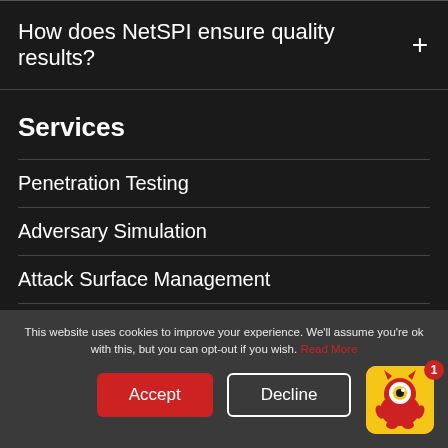How does NetSPI ensure quality results?
Services
Penetration Testing
Adversary Simulation
Attack Surface Management
Our Technology
This website uses cookies to improve your experience. We’ll assume you’re ok with this, but you can opt-out if you wish. Read More
Accept
Decline